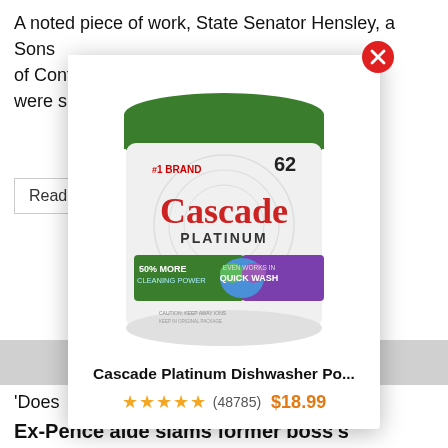A noted piece of work, State Senator Hensley, a Sons of Confederate Veterans member, decided th… were s…
Read…
[Figure (screenshot): Ad popup overlay showing Cascade Platinum Dishwasher Pods product image with a green lid white container, labeled #1 BRAND, 62 count, with 50% More Cleaning Power and Even Works in Quick Wash features. Includes a red X close button, product title 'Cascade Platinum Dishwasher Po...', star rating (48785 reviews), and price $18.99.]
'Does … ne?' Ex-Pence aide slams former boss's …